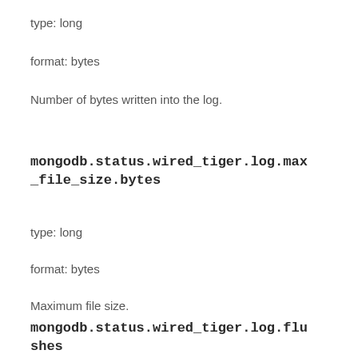type: long
format: bytes
Number of bytes written into the log.
mongodb.status.wired_tiger.log.max_file_size.bytes
type: long
format: bytes
Maximum file size.
mongodb.status.wired_tiger.log.flushes